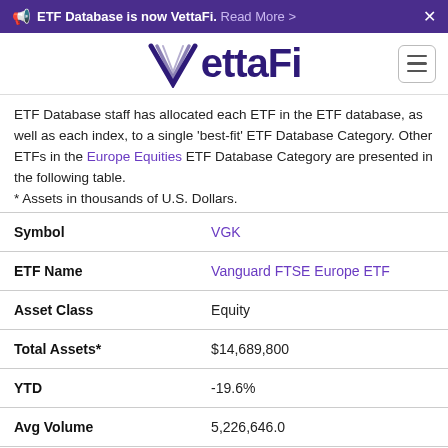ETF Database is now VettaFi. Read More >
[Figure (logo): VettaFi logo in dark purple with stylized V]
ETF Database staff has allocated each ETF in the ETF database, as well as each index, to a single 'best-fit' ETF Database Category. Other ETFs in the Europe Equities ETF Database Category are presented in the following table.
* Assets in thousands of U.S. Dollars.
| Field | Value |
| --- | --- |
| Symbol | VGK |
| ETF Name | Vanguard FTSE Europe ETF |
| Asset Class | Equity |
| Total Assets* | $14,689,800 |
| YTD | -19.6% |
| Avg Volume | 5,226,646.0 |
| Previous Closing Price | $53.67 |